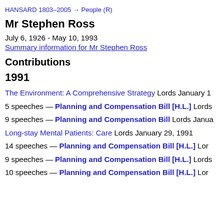HANSARD 1803–2005 → People (R)
Mr Stephen Ross
July 6, 1926 - May 10, 1993
Summary information for Mr Stephen Ross
Contributions
1991
The Environment: A Comprehensive Strategy Lords January 1
5 speeches — Planning and Compensation Bill [H.L.] Lords
9 speeches — Planning and Compensation Bill Lords Janua
Long-stay Mental Patients: Care Lords January 29, 1991
14 speeches — Planning and Compensation Bill [H.L.] Lord
9 speeches — Planning and Compensation Bill [H.L.] Lords
10 speeches — Planning and Compensation Bill [H.L.] Lor